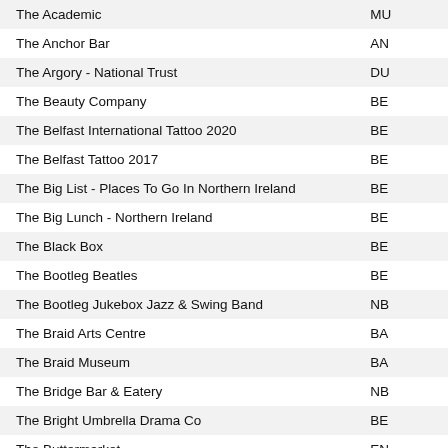| Name | Code |
| --- | --- |
| The Academic | MU |
| The Anchor Bar | AN |
| The Argory - National Trust | DU |
| The Beauty Company | BE |
| The Belfast International Tattoo 2020 | BE |
| The Belfast Tattoo 2017 | BE |
| The Big List - Places To Go In Northern Ireland | BE |
| The Big Lunch - Northern Ireland | BE |
| The Black Box | BE |
| The Bootleg Beatles | BE |
| The Bootleg Jukebox Jazz & Swing Band | NB |
| The Braid Arts Centre | BA |
| The Braid Museum | BA |
| The Bridge Bar & Eatery | NB |
| The Bright Umbrella Drama Co | BE |
| The Buttermarket | EN |
| The Carole Nash Irish Motorbike & Scooter Show | DU |
| The Chocolate Manor | CO |